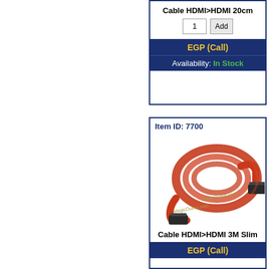Cable HDMI>HDMI 20cm
1  Add
EGP (Call)
Availability: In Stock
Item ID: 7700
[Figure (photo): Red flat HDMI cable coiled, with HDMI connectors on both ends. Watermark: MagicDuino.com]
Cable HDMI>HDMI 3M Slim
EGP (Call)